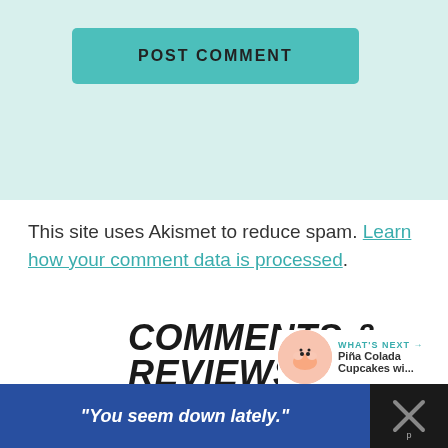[Figure (screenshot): Teal/mint colored background section with a 'POST COMMENT' button in teal with dark text]
This site uses Akismet to reduce spam. Learn how your comment data is processed.
62
COMMENTS & REVIEWS
WHAT'S NEXT → Piña Colada Cupcakes wi...
| COMMENTS | REVIEWS | WRITE A REVIEW |
| --- | --- | --- |
[Figure (screenshot): Dark advertisement bar at bottom with blue box containing italic text: "You seem down lately." and a logo on the right]